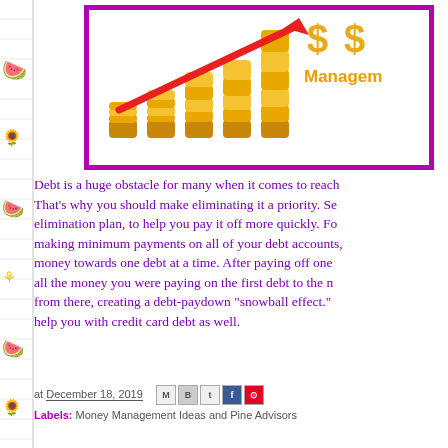[Figure (illustration): Money management banner image with stacked gold coins growing in height left to right, a red upward arrow, two large dollar signs, and text 'Management' on an orange/gold color, all inside a purple border frame. White background.]
Debt is a huge obstacle for many when it comes to reaching financial goals. That's why you should make eliminating it a priority. Set a debt elimination plan, to help you pay it off more quickly. For example, start making minimum payments on all of your debt accounts, but put the extra money towards one debt at a time. After paying off one debt, apply all the money you were paying on the first debt to the next one and so on from there, creating a debt-paydown "snowball effect." This strategy can help you with credit card debt as well.
at December 18, 2019
Labels: Money Management Ideas and Pine Advisors